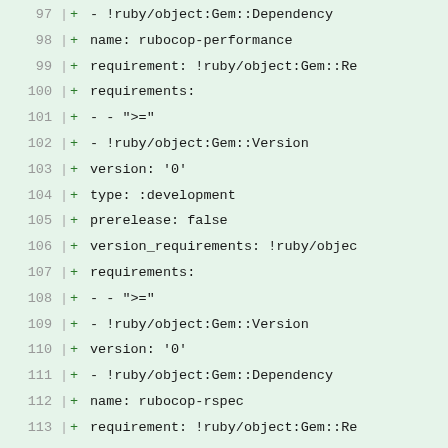[Figure (screenshot): Code diff view showing lines 97-117 of a YAML file (Gemfile.lock or gemspec), displaying added lines (marked with +) including Ruby gem dependency entries for rubocop-performance and rubocop-rspec. Background is light green indicating additions in a diff.]